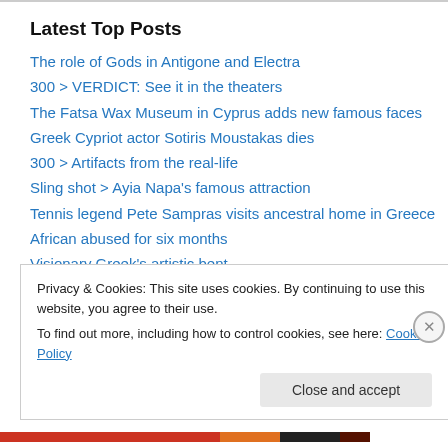Latest Top Posts
The role of Gods in Antigone and Electra
300 > VERDICT: See it in the theaters
The Fatsa Wax Museum in Cyprus adds new famous faces
Greek Cypriot actor Sotiris Moustakas dies
300 > Artifacts from the real-life
Sling shot > Ayia Napa's famous attraction
Tennis legend Pete Sampras visits ancestral home in Greece
African abused for six months
Visionary Greek's artistic bent
Greece summons British ambassador to complain over Britain-Turkey
Privacy & Cookies: This site uses cookies. By continuing to use this website, you agree to their use. To find out more, including how to control cookies, see here: Cookie Policy